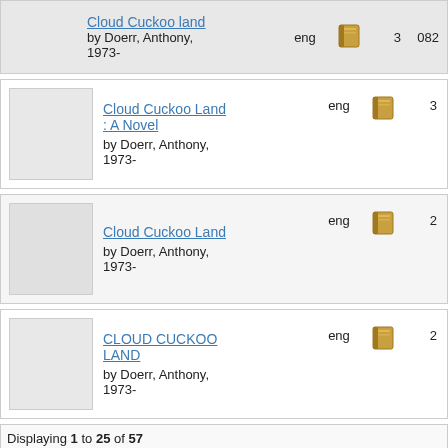Cloud Cuckoo land by Doerr, Anthony, 1973- | eng | 3 | 082
Cloud Cuckoo Land : A Novel by Doerr, Anthony, 1973- | eng | 3
Cloud Cuckoo Land by Doerr, Anthony, 1973- | eng | 2
CLOUD CUCKOO LAND by Doerr, Anthony, 1973- | eng | 2
Displaying 1 to 25 of 57
<< First | < Prev | 1 | 2 | 3 | Next > | Last >>